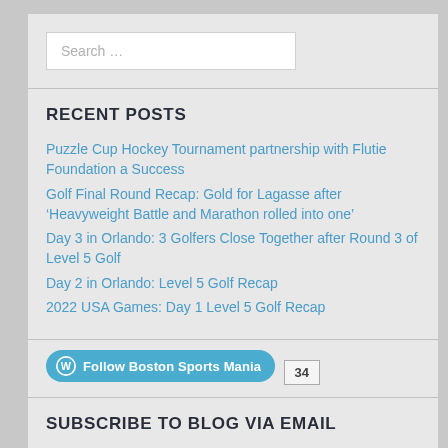Search …
RECENT POSTS
Puzzle Cup Hockey Tournament partnership with Flutie Foundation a Success
Golf Final Round Recap: Gold for Lagasse after 'Heavyweight Battle and Marathon rolled into one'
Day 3 in Orlando: 3 Golfers Close Together after Round 3 of Level 5 Golf
Day 2 in Orlando: Level 5 Golf Recap
2022 USA Games: Day 1 Level 5 Golf Recap
Follow Boston Sports Mania 34
SUBSCRIBE TO BLOG VIA EMAIL